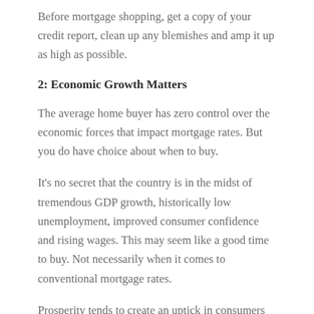Before mortgage shopping, get a copy of your credit report, clean up any blemishes and amp it up as high as possible.
2: Economic Growth Matters
The average home buyer has zero control over the economic forces that impact mortgage rates. But you do have choice about when to buy.
It's no secret that the country is in the midst of tremendous GDP growth, historically low unemployment, improved consumer confidence and rising wages. This may seem like a good time to buy. Not necessarily when it comes to conventional mortgage rates.
Prosperity tends to create an uptick in consumers vying for home loans. That demand seems like a good thing. But the